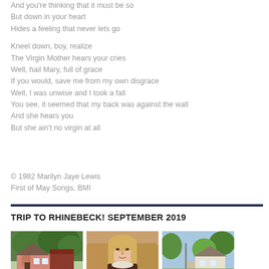And you're thinking that it must be so
But down in your heart
Hides a feeling that never lets go

Kneel down, boy, realize
The Virgin Mother hears your cries
Well, hail Mary, full of grace
If you would, save me from my own disgrace
Well, I was unwise and I took a fall
You see, it seemed that my back was against the wall
And she hears you
But she ain't no virgin at all
© 1982 Marilyn Jaye Lewis
First of May Songs, BMI
TRIP TO RHINEBECK! SEPTEMBER 2019
[Figure (photo): Three photographs from a trip to Rhinebeck in September 2019: a pink house with trees, a woman with blonde hair, and a street scene with trees and a house.]